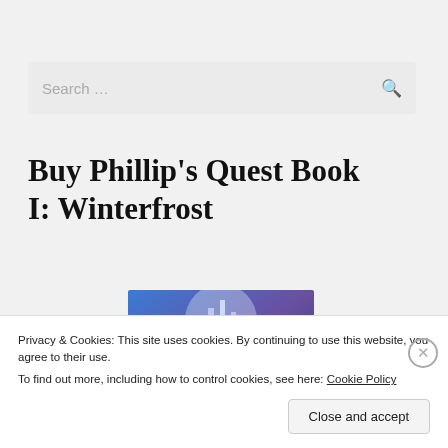Search …
Buy Phillip's Quest Book I: Winterfrost
[Figure (illustration): Book cover for Phillip's Quest showing fantasy artwork with text 'Phillip's Quest' in stylized lettering on a blue/purple background]
Privacy & Cookies: This site uses cookies. By continuing to use this website, you agree to their use.
To find out more, including how to control cookies, see here: Cookie Policy
Close and accept